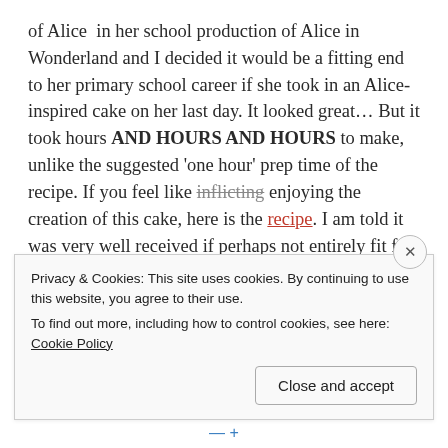of Alice in her school production of Alice in Wonderland and I decided it would be a fitting end to her primary school career if she took in an Alice-inspired cake on her last day. It looked great… But it took hours AND HOURS AND HOURS to make, unlike the suggested 'one hour' prep time of the recipe. If you feel like inflicting enjoying the creation of this cake, here is the recipe. I am told it was very well received if perhaps not entirely fit for purpose, (serving up and eating this beauty required 32 bowls and spoons).
Privacy & Cookies: This site uses cookies. By continuing to use this website, you agree to their use.
To find out more, including how to control cookies, see here: Cookie Policy